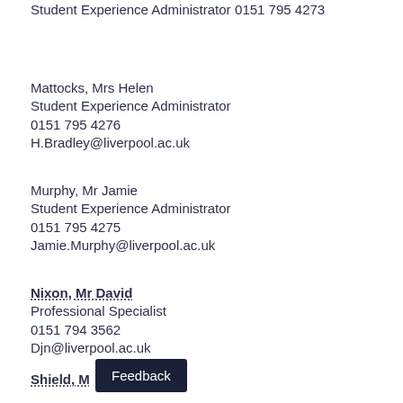Student Experience Administrator
0151 795 4273
Mattocks, Mrs Helen
Student Experience Administrator
0151 795 4276
H.Bradley@liverpool.ac.uk
Murphy, Mr Jamie
Student Experience Administrator
0151 795 4275
Jamie.Murphy@liverpool.ac.uk
Nixon, Mr David
Professional Specialist
0151 794 3562
Djn@liverpool.ac.uk
Shield, M...
Feedback